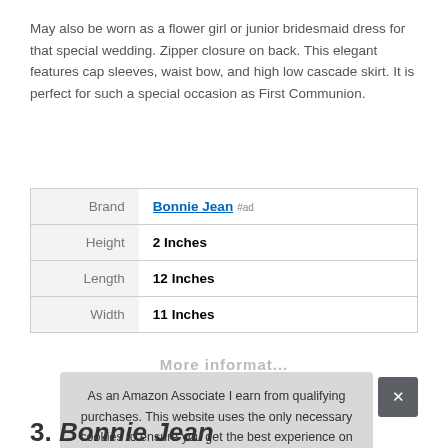May also be worn as a flower girl or junior bridesmaid dress for that special wedding. Zipper closure on back. This elegant features cap sleeves, waist bow, and high low cascade skirt. It is perfect for such a special occasion as First Communion.
|  |  |
| --- | --- |
| Brand | Bonnie Jean #ad |
| Height | 2 Inches |
| Length | 12 Inches |
| Width | 11 Inches |
As an Amazon Associate I earn from qualifying purchases. This website uses the only necessary cookies to ensure you get the best experience on our website. More information
3. Bonnie Jean